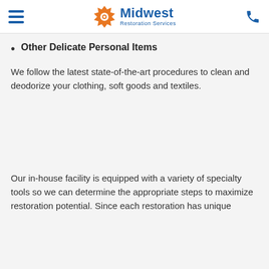Midwest Restoration Services
Other Delicate Personal Items
We follow the latest state-of-the-art procedures to clean and deodorize your clothing, soft goods and textiles.
Our in-house facility is equipped with a variety of specialty tools so we can determine the appropriate steps to maximize restoration potential. Since each restoration has unique